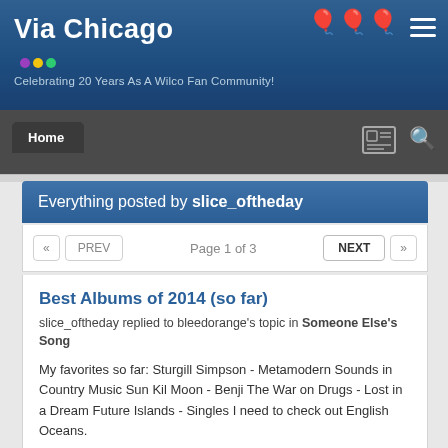Via Chicago — Celebrating 20 Years As A Wilco Fan Community!
Everything posted by slice_oftheday
« PREV   Page 1 of 3   NEXT »
Best Albums of 2014 (so far)
slice_oftheday replied to bleedorange's topic in Someone Else's Song
My favorites so far: Sturgill Simpson - Metamodern Sounds in Country Music Sun Kil Moon - Benji The War on Drugs - Lost in a Dream Future Islands - Singles I need to check out English Oceans.
May 23, 2014   115 replies   2014   music